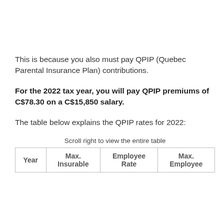This is because you also must pay QPIP (Quebec Parental Insurance Plan) contributions.
For the 2022 tax year, you will pay QPIP premiums of C$78.30 on a C$15,850 salary.
The table below explains the QPIP rates for 2022:
Scroll right to view the entire table
| Year | Max. Insurable | Employee Rate | Max. Employee |
| --- | --- | --- | --- |